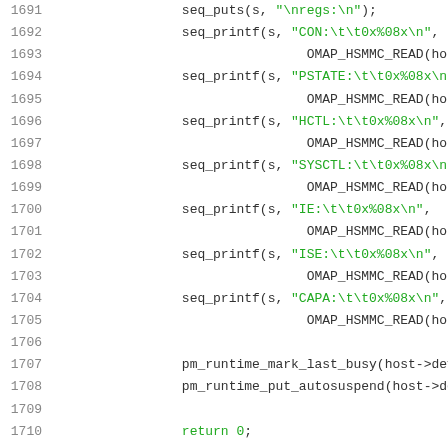[Figure (screenshot): Source code snippet showing lines 1691-1711 of a C file with seq_puts, seq_printf, pm_runtime functions and a return statement, displayed with syntax highlighting (green strings, dark plain text, grey line numbers).]